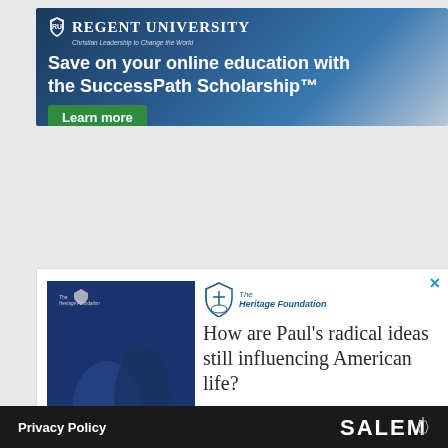[Figure (illustration): Regent University advertisement banner with dark blue sky background. Shows shield logo, university name, tagline 'Christian Leadership to Change the World', headline 'Save on your online education with the SuccessPath Scholarship™', and green 'Learn more' button.]
[Figure (illustration): Heritage Foundation advertisement showing a book cover 'The Freedom Letter to the Romans' on the left, Heritage Foundation logo (bell logo), text 'How are Paul's radical ideas still influencing American life?' and a red rounded 'Get My FREE Copy' button at the bottom. X close button in top right.]
Privacy Policy   SALEM